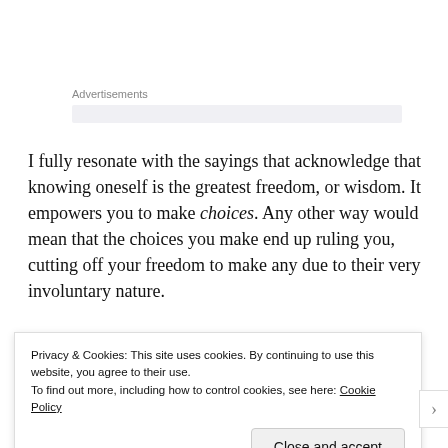Advertisements
I fully resonate with the sayings that acknowledge that knowing oneself is the greatest freedom, or wisdom. It empowers you to make choices. Any other way would mean that the choices you make end up ruling you, cutting off your freedom to make any due to their very involuntary nature.
Desire has been given such a bad rap. It's become a dirty
Privacy & Cookies: This site uses cookies. By continuing to use this website, you agree to their use.
To find out more, including how to control cookies, see here: Cookie Policy
Close and accept